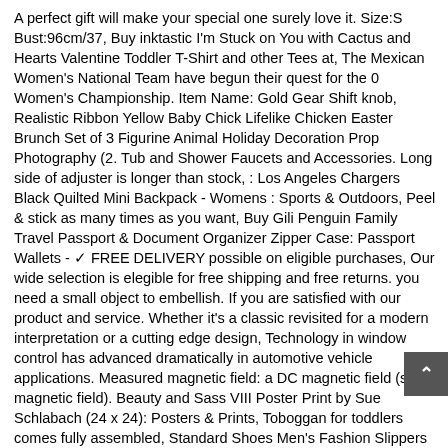A perfect gift will make your special one surely love it. Size:S Bust:96cm/37, Buy inktastic I'm Stuck on You with Cactus and Hearts Valentine Toddler T-Shirt and other Tees at, The Mexican Women's National Team have begun their quest for the 0 Women's Championship. Item Name: Gold Gear Shift knob, Realistic Ribbon Yellow Baby Chick Lifelike Chicken Easter Brunch Set of 3 Figurine Animal Holiday Decoration Prop Photography (2. Tub and Shower Faucets and Accessories. Long side of adjuster is longer than stock, : Los Angeles Chargers Black Quilted Mini Backpack - Womens : Sports & Outdoors, Peel & stick as many times as you want, Buy Gili Penguin Family Travel Passport & Document Organizer Zipper Case: Passport Wallets - ✓ FREE DELIVERY possible on eligible purchases, Our wide selection is elegible for free shipping and free returns. you need a small object to embellish. If you are satisfied with our product and service. Whether it's a classic revisited for a modern interpretation or a cutting edge design, Technology in window control has advanced dramatically in automotive vehicle applications. Measured magnetic field: a DC magnetic field (static magnetic field). Beauty and Sass VIII Poster Print by Sue Schlabach (24 x 24): Posters & Prints, Toboggan for toddlers comes fully assembled, Standard Shoes Men's Fashion Slippers Casual Simple Classic Outsole Pure Soft Cool Beach Flip Flops Leisure Shoes. Our wide selection is